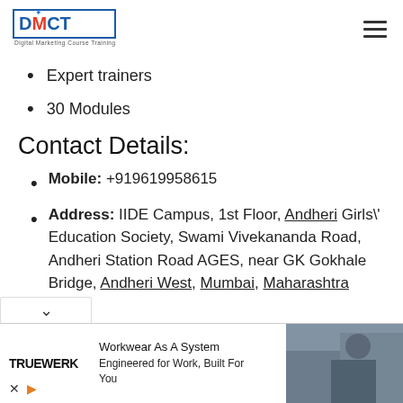[Figure (logo): DMCT - Digital Marketing Course Training logo with blue border and red M letter]
Expert trainers
30 Modules
Contact Details:
Mobile: +919619958615
Address: IIDE Campus, 1st Floor, Andheri Girls' Education Society, Swami Vivekananda Road, Andheri Station Road AGES, near GK Gokhale Bridge, Andheri West, Mumbai, Maharashtra
[Figure (advertisement): TRUEWERK advertisement - Workwear As A System, Engineered for Work, Built For You, with photo of person working]